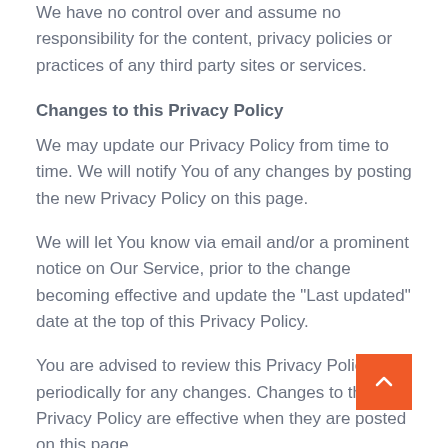We have no control over and assume no responsibility for the content, privacy policies or practices of any third party sites or services.
Changes to this Privacy Policy
We may update our Privacy Policy from time to time. We will notify You of any changes by posting the new Privacy Policy on this page.
We will let You know via email and/or a prominent notice on Our Service, prior to the change becoming effective and update the "Last updated" date at the top of this Privacy Policy.
You are advised to review this Privacy Policy periodically for any changes. Changes to this Privacy Policy are effective when they are posted on this page.
Contact Us